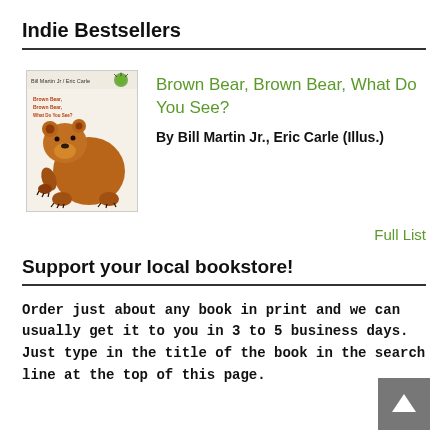Indie Bestsellers
[Figure (illustration): Book cover of Brown Bear, Brown Bear, What Do You See? showing a brown bear illustration by Eric Carle, with author names at top]
Brown Bear, Brown Bear, What Do You See?
By Bill Martin Jr., Eric Carle (Illus.)
Full List
Support your local bookstore!
Order just about any book in print and we can usually get it to you in 3 to 5 business days. Just type in the title of the book in the search line at the top of this page.